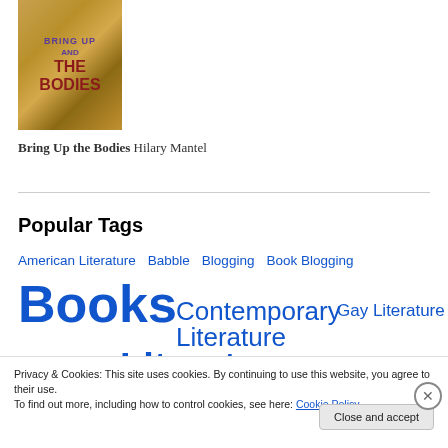[Figure (illustration): Book cover for 'Bring Up the Bodies' by Hilary Mantel, with golden-brown background and text]
Bring Up the Bodies Hilary Mantel
Popular Tags
American Literature
Babble
Blogging
Book Blogging
Books
Contemporary Literature
Gay Literature
Literature
Privacy & Cookies: This site uses cookies. By continuing to use this website, you agree to their use.
To find out more, including how to control cookies, see here: Cookie Policy
Close and accept